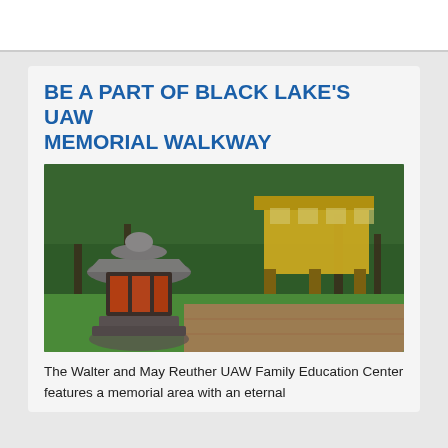BE A PART OF BLACK LAKE'S UAW MEMORIAL WALKWAY
[Figure (photo): Outdoor photo showing a Japanese stone lantern in the foreground with a glowing red interior, set on a decorative brick walkway surrounded by green grass. In the background is a mid-century modern yellow building elevated on pillars, surrounded by tall evergreen and deciduous trees.]
The Walter and May Reuther UAW Family Education Center features a memorial area with an eternal